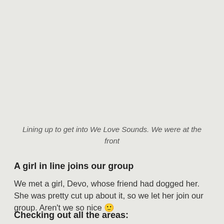Lining up to get into We Love Sounds. We were at the front
A girl in line joins our group
We met a girl, Devo, whose friend had dogged her. She was pretty cut up about it, so we let her join our group. Aren't we so nice 🙂
Checking out all the areas: